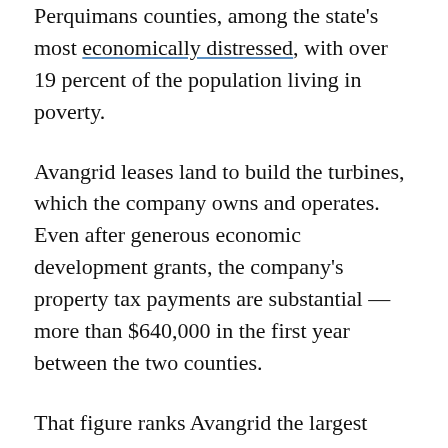Perquimans counties, among the state's most economically distressed, with over 19 percent of the population living in poverty.
Avangrid leases land to build the turbines, which the company owns and operates. Even after generous economic development grants, the company's property tax payments are substantial — more than $640,000 in the first year between the two counties.
That figure ranks Avangrid the largest local taxpayer in both places — besting utility Dominion Resources, Walmart, and other major institutions.
“The amount of money generated from renewable